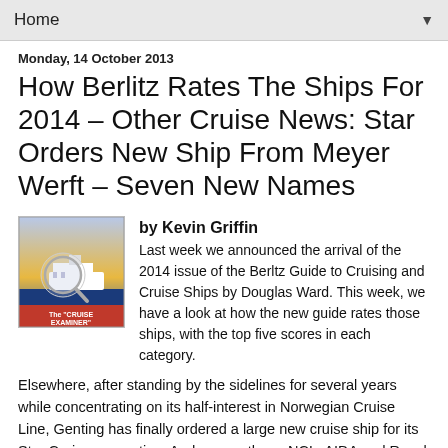Home ▼
Monday, 14 October 2013
How Berlitz Rates The Ships For 2014 – Other Cruise News: Star Orders New Ship From Meyer Werft – Seven New Names
[Figure (illustration): Book cover image showing The CRUISE EXAMINER with a cruise ship and magnifying glass graphic]
by Kevin Griffin
Last week we announced the arrival of the 2014 issue of the Berltz Guide to Cruising and Cruise Ships by Douglas Ward. This week, we have a look at how the new guide rates those ships, with the top five scores in each category. Elsewhere, after standing by the sidelines for several years while concentrating on its half-interest in Norwegian Cruise Line, Genting has finally ordered a large new cruise ship for its Star Cruises operation. And among them, NCL, AIDA and Royal Caribbean have together revealed seven new cruise ship names.
THIS WEEK'S STORY